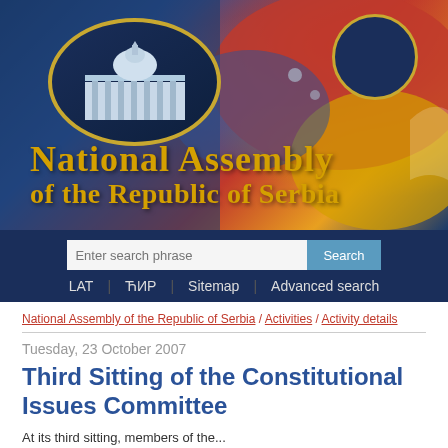[Figure (logo): National Assembly of the Republic of Serbia website header banner with logo oval containing parliament building illustration, dark blue background with colorful national imagery, and title text in gold serif font]
National Assembly of the Republic of Serbia
LAT | ЋИР | Sitemap | Advanced search
National Assembly of the Republic of Serbia / Activities / Activity details
Tuesday, 23 October 2007
Third Sitting of the Constitutional Issues Committee
At its third sitting, members of the...